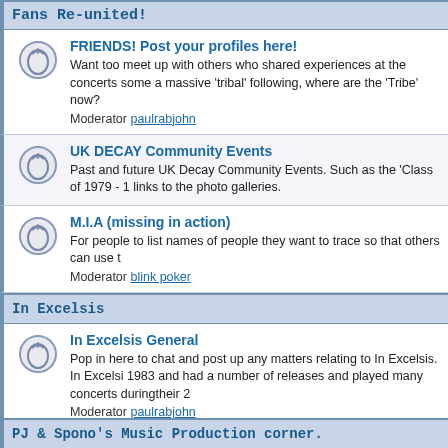Fans Re-united!
FRIENDS! Post your profiles here!
Want too meet up with others who shared experiences at the concerts some a massive 'tribal' following, where are the 'Tribe' now?
Moderator paulrabjohn
UK DECAY Community Events
Past and future UK Decay Community Events. Such as the 'Class of 1979 - 1 links to the photo galleries.
M.I.A (missing in action)
For people to list names of people they want to trace so that others can use t
Moderator blink poker
In Excelsis
In Excelsis General
Pop in here to chat and post up any matters relating to In Excelsis. In Excelsi 1983 and had a number of releases and played many concerts duringtheir 2
Moderator paulrabjohn
Furyo
Furyo General
Pop in here to chat and post up any matters relating to Furyo. Forming in ear as 'Slavedriver'
Moderator paulrabjohn
UK Decay Links
Other UK Decay websites
Some interesting websites that contain material on UK Decay.
PJ & Spono's Music Production corner.